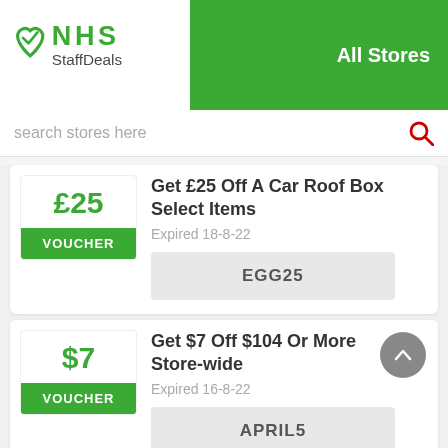[Figure (logo): NHS StaffDeals logo with green heart and checkmark icon]
All Stores
search stores here
£25
VOUCHER
Get £25 Off A Car Roof Box Select Items
Expired 18-8-22
EGG25
$7
VOUCHER
Get $7 Off $104 Or More Store-wide
Expired 16-8-22
APRIL5